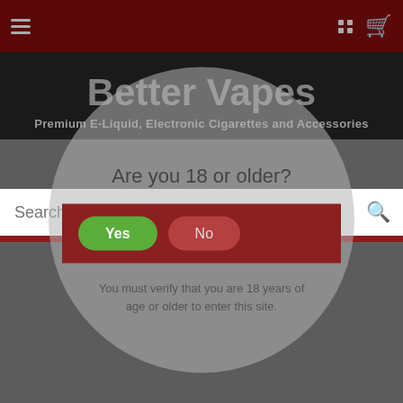Better Vapes navigation bar with hamburger menu, grid icon, and cart icon
Better Vapes
Premium E-Liquid, Electronic Cigarettes and Accessories
[Figure (screenshot): Search bar with placeholder text 'Search' and a magnifying glass icon]
Are you 18 or older?
Yes
No
You must verify that you are 18 years of age or older to enter this site.